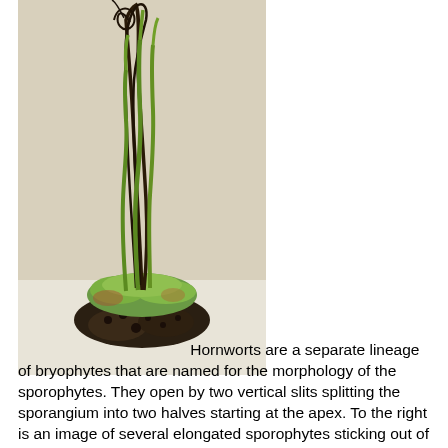[Figure (photo): Photograph of a hornwort plant showing several elongated sporophytes (tall, thin green and dark stalks curling at the top) emerging from a small green thallus body sitting on dark soil/substrate, against a beige background.]
Hornworts are a separate lineage of bryophytes that are named for the morphology of the sporophytes. They open by two vertical slits splitting the sporangium into two halves starting at the apex. To the right is an image of several elongated sporophytes sticking out of